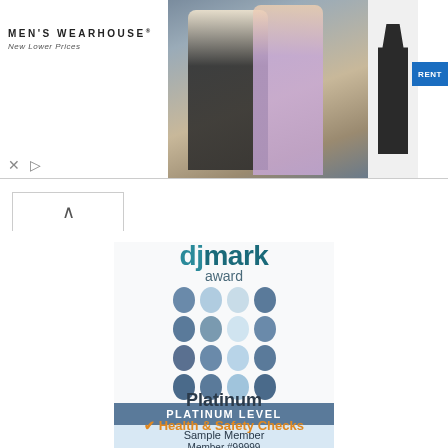[Figure (photo): Men's Wearhouse advertisement banner showing a couple in formal wear and a suit rental option with RENT button]
[Figure (logo): DJ Mark Award Platinum Level badge with decorative dots grid, showing Sample Member, Member #99999]
Platinum
✔ Health & Safety Checks